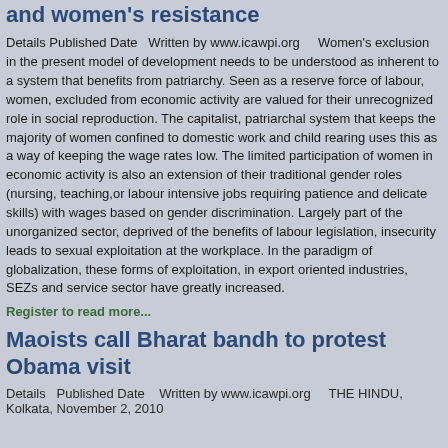and women's resistance
Details Published Date  Written by www.icawpi.org    Women's exclusion in the present model of development needs to be understood as inherent to a system that benefits from patriarchy. Seen as a reserve force of labour, women, excluded from economic activity are valued for their unrecognized role in social reproduction. The capitalist, patriarchal system that keeps the majority of women confined to domestic work and child rearing uses this as a way of keeping the wage rates low. The limited participation of women in economic activity is also an extension of their traditional gender roles (nursing, teaching,or labour intensive jobs requiring patience and delicate skills) with wages based on gender discrimination. Largely part of the unorganized sector, deprived of the benefits of labour legislation, insecurity leads to sexual exploitation at the workplace. In the paradigm of globalization, these forms of exploitation, in export oriented industries, SEZs and service sector have greatly increased.
Register to read more...
Maoists call Bharat bandh to protest Obama visit
Details Published Date  Written by www.icawpi.org    THE HINDU, Kolkata, November 2, 2010